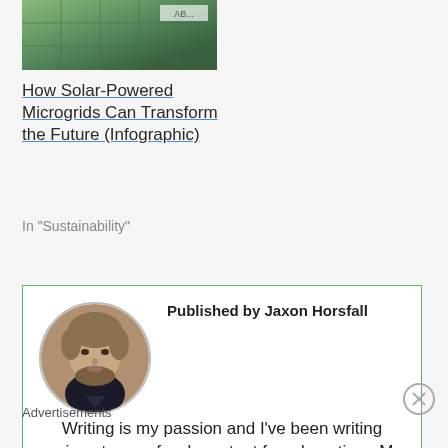[Figure (photo): Aerial photo of solar panels with a label overlay reading 'AB...']
How Solar-Powered Microgrids Can Transform the Future (Infographic)
In "Sustainability"
[Figure (photo): Circular portrait photo of Jaxon Horsfall, a bearded man with light brown hair]
Published by Jaxon Horsfall
Writing is my passion and I've been writing various types of web content for a long time. My personal
Advertisements